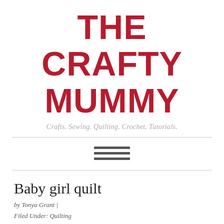THE CRAFTY MUMMY
Crafts. Sewing. Quilting. Crochet. Tutorials.
[Figure (other): Hamburger menu icon with three horizontal lines]
Baby girl quilt
by Tonya Grant | Filed Under: Quilting
Tagged With: Gifts
Get a Weekly Update of all Articles
[Figure (photo): Partial photo of a baby girl quilt at the bottom of the page]